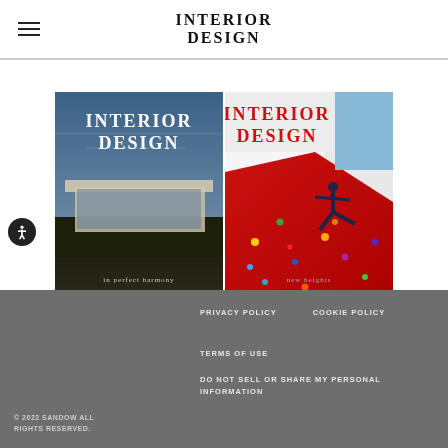INTERIOR DESIGN
[Figure (illustration): Two Interior Design magazine covers side by side. Left cover: dark moody photo of a modernist building in a grassy landscape with text 'INTERIOR DESIGN' in white and subtitle 'in perfect harmony'. Right cover: bright white room with red climbing wall and a person climbing, with 'INTERIOR DESIGN' in red text and subtitle 'new heights'.]
PRIVACY POLICY | COOKIE POLICY | TERMS OF USE | DO NOT SELL OR SHARE MY PERSONAL INFORMATION | © 2022 SANDOW ALL RIGHTS RESERVED.